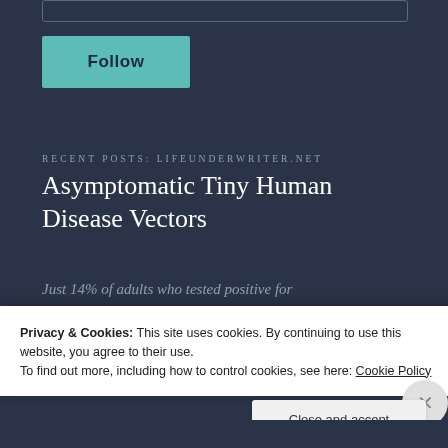[Figure (screenshot): Follow button UI element with teal/cyan background on dark navy background]
RECENT POSTS: LIFEUNDERWRITER.NET
Asymptomatic Tiny Human Disease Vectors
Just 14% of adults who tested positive for
Privacy & Cookies: This site uses cookies. By continuing to use this website, you agree to their use.
To find out more, including how to control cookies, see here: Cookie Policy
Close and accept